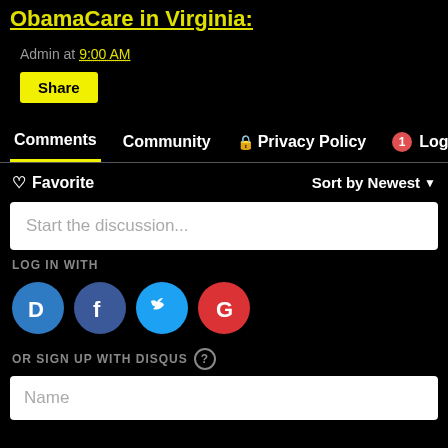ObamaCare in Virginia:
Admin at 9:00 AM
Share
Comments  Community  Privacy Policy  1  Login
Favorite  Sort by Newest
Start the discussion...
LOG IN WITH
[Figure (infographic): Social login buttons: Disqus (blue circle D), Facebook (dark blue circle f), Twitter (light blue circle bird), Google (red circle G)]
OR SIGN UP WITH DISQUS ?
Name